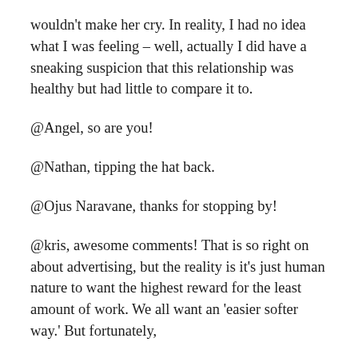wouldn't make her cry. In reality, I had no idea what I was feeling – well, actually I did have a sneaking suspicion that this relationship was healthy but had little to compare it to.
@Angel, so are you!
@Nathan, tipping the hat back.
@Ojus Naravane, thanks for stopping by!
@kris, awesome comments! That is so right on about advertising, but the reality is it's just human nature to want the highest reward for the least amount of work. We all want an 'easier softer way.' But fortunately,